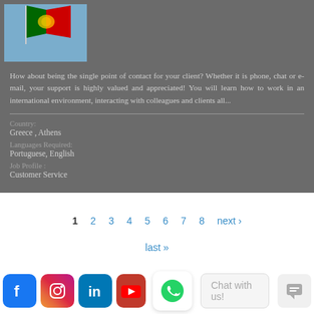[Figure (photo): Portuguese flag waving against a blue sky background]
How about being the single point of contact for your client? Whether it is phone, chat or e-mail, your support is highly valued and appreciated! You will learn how to work in an international environment, interacting with colleagues and clients all...
Country:
Greece , Athens
Languages Required:
Portuguese, English
Job Profile :
Customer Service
1  2  3  4  5  6  7  8  next ›
last »
[Figure (illustration): Social media icons: Facebook, Instagram, LinkedIn, YouTube, WhatsApp button, Chat with us! input, and a chat icon button]